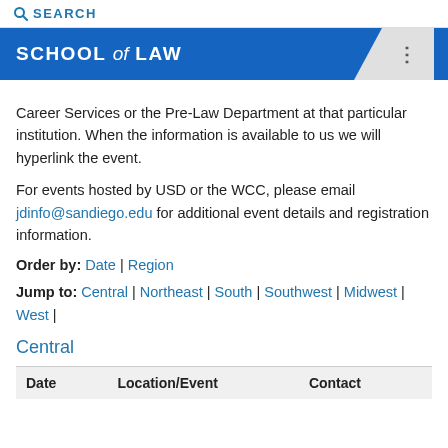SEARCH
SCHOOL of LAW
Career Services or the Pre-Law Department at that particular institution. When the information is available to us we will hyperlink the event.
For events hosted by USD or the WCC, please email jdinfo@sandiego.edu for additional event details and registration information.
Order by: Date | Region
Jump to: Central | Northeast | South | Southwest | Midwest | West |
Central
| Date | Location/Event | Contact |
| --- | --- | --- |